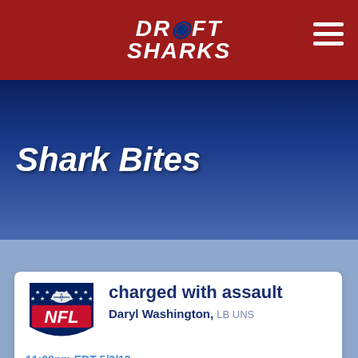Draft Sharks
Shark Bites
charged with assault
Daryl Washington, LB UNS
11:08pm EDT 5/3/13
Cardinals LB Daryl Washington faces 2 counts of aggravated assault for an alleged incident involving the mother of his child.  The woman accused Washington of throwing her down during an altercation, breaking her clavicle in the process. Washington said in a statement: "I regret that the situation has brought this kind of attention to my family and my team. I look